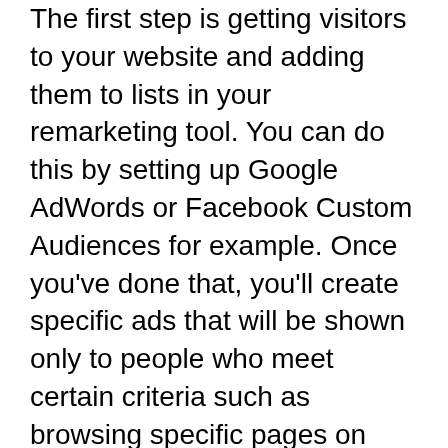The first step is getting visitors to your website and adding them to lists in your remarketing tool. You can do this by setting up Google AdWords or Facebook Custom Audiences for example. Once you've done that, you'll create specific ads that will be shown only to people who meet certain criteria such as browsing specific pages on your website or having a particular interest like outdoor sports equipment.
Google Analytics Individual Qualification Exam will be conducted by the Google Analytics Evangelist.
The certification exam google is open to anyone who has a valid Google Analytics account and a working knowledge of their company's Google Analytics account.